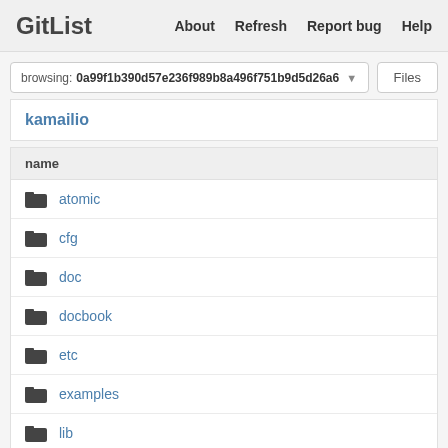GitList   About   Refresh   Report bug   Help
browsing: 0a99f1b390d57e236f989b8a496f751b9d5d26a6   Files
kamailio
| name |
| --- |
| atomic |
| cfg |
| doc |
| docbook |
| etc |
| examples |
| lib |